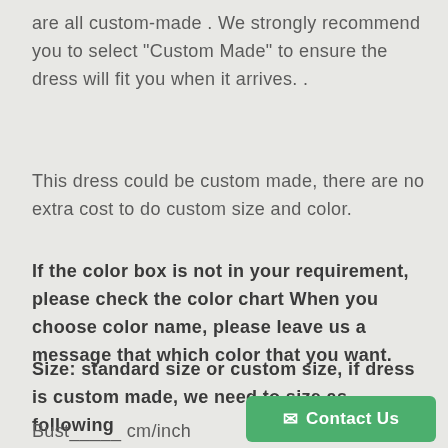are all custom-made . We strongly recommend you to select "Custom Made" to ensure the dress will fit you when it arrives. .
This dress could be custom made, there are no extra cost to do custom size and color.
If the color box is not in your requirement, please check the color chart When you choose color name, please leave us a message that which color that you want.
Size: standard size or custom size, if dress is custom made, we need to size as following
Bust_____ cm/inch
Contact Us